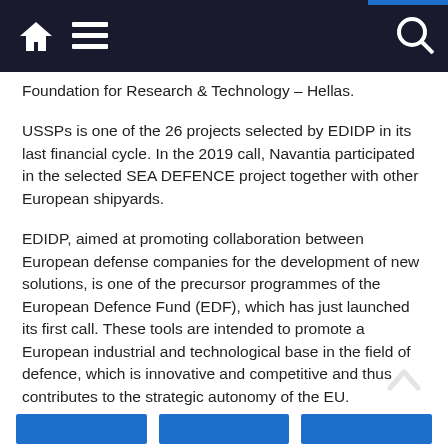Foundation for Research & Technology – Hellas.
USSPs is one of the 26 projects selected by EDIDP in its last financial cycle. In the 2019 call, Navantia participated in the selected SEA DEFENCE project together with other European shipyards.
EDIDP, aimed at promoting collaboration between European defense companies for the development of new solutions, is one of the precursor programmes of the European Defence Fund (EDF), which has just launched its first call. These tools are intended to promote a European industrial and technological base in the field of defence, which is innovative and competitive and thus contributes to the strategic autonomy of the EU.